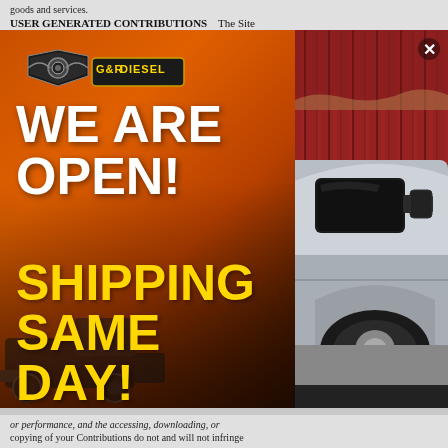goods and services.
USER GENERATED CONTRIBUTIONS    The Site
[Figure (infographic): G&R Diesel promotional modal popup overlay showing logo, 'WE ARE OPEN!' in white bold text, 'SHIPPING SAME DAY!' in yellow bold text, over an orange-to-dark gradient background with a silver diesel truck on the right side against a red corrugated metal wall. A close (X) button appears in the upper right corner.]
or performance, and the accessing, downloading, or
copying of your Contributions do not and will not infringe